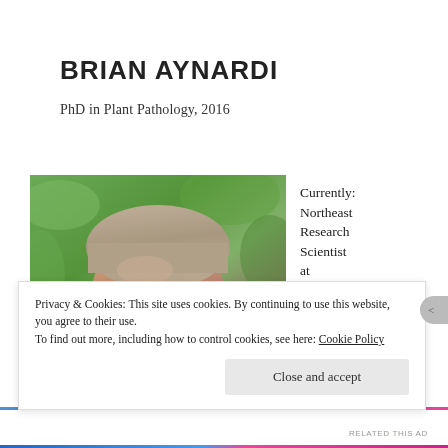BRIAN AYNARDI
PhD in Plant Pathology, 2016
[Figure (photo): Headshot photo of Brian Aynardi outdoors with green foliage background, showing his face and top of head with short light brown hair.]
Currently: Northeast Research Scientist at RRI/Cord...
Privacy & Cookies: This site uses cookies. By continuing to use this website, you agree to their use.
To find out more, including how to control cookies, see here: Cookie Policy
Close and accept